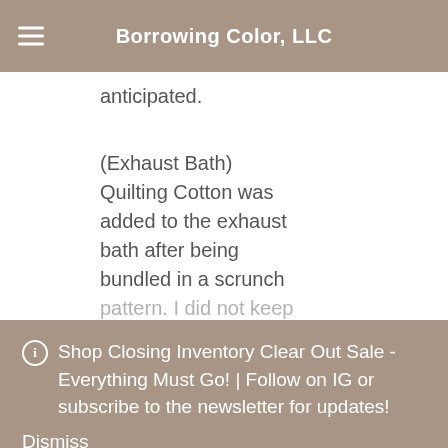Borrowing Color, LLC
anticipated.
(Exhaust Bath)
Quilting Cotton was added to the exhaust bath after being bundled in a scrunch pattern. I did not keep
Shop Closing Inventory Clear Out Sale - Everything Must Go! | Follow on IG or subscribe to the newsletter for updates!
Dismiss
color (see images below.)